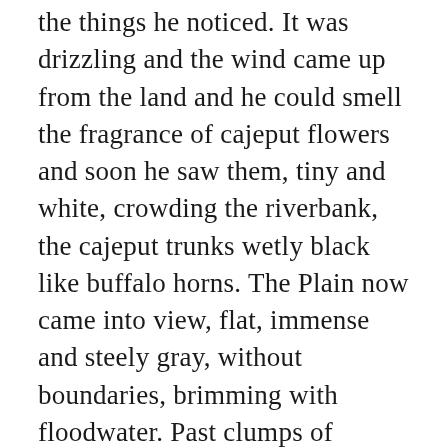the things he noticed. It was drizzling and the wind came up from the land and he could smell the fragrance of cajeput flowers and soon he saw them, tiny and white, crowding the riverbank, the cajeput trunks wetly black like buffalo horns. The Plain now came into view, flat, immense and steely gray, without boundaries, brimming with floodwater. Past clumps of bushwillows with the tops of their bushes above the water, he heard moorhens calling, and rain now falling and popping like packets of broken needles on the surface of the water, the wind damp, and in that grayness a heron rising to air.